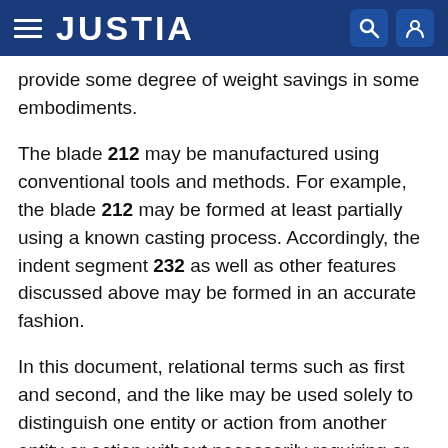JUSTIA
provide some degree of weight savings in some embodiments.
The blade 212 may be manufactured using conventional tools and methods. For example, the blade 212 may be formed at least partially using a known casting process. Accordingly, the indent segment 232 as well as other features discussed above may be formed in an accurate fashion.
In this document, relational terms such as first and second, and the like may be used solely to distinguish one entity or action from another entity or action without necessarily requiring or implying any actual such relationship or order between such entities or actions. Numerical ordinals such as “first,” “second,” “third,” etc. simply denote different singles of a plurality